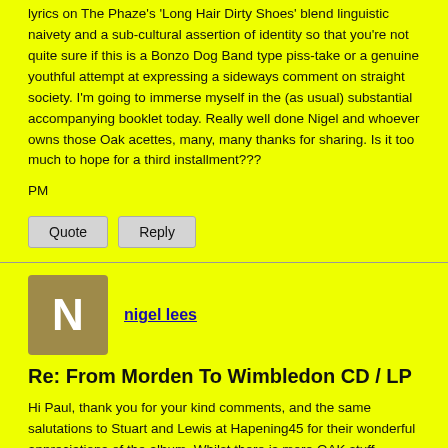lyrics on The Phaze's 'Long Hair Dirty Shoes' blend linguistic naivety and a sub-cultural assertion of identity so that you're not quite sure if this is a Bonzo Dog Band type piss-take or a genuine youthful attempt at expressing a sideways comment on straight society. I'm going to immerse myself in the (as usual) substantial accompanying booklet today. Really well done Nigel and whoever owns those Oak acettes, many, many thanks for sharing. Is it too much to hope for a third installment???
PM
Quote
Reply
nigel lees
Re: From Morden To Wimbledon CD / LP
Hi Paul, thank you for your kind comments, and the same salutations to Stuart and Lewis at Hapening45 for their wonderful appreciations of the album. Whilst there is more OAK stuff unreleased (quite a lot actually) it would be difficult to theme a third OAK comp and keep up the quality of the two I've done. But there will be stray OAK titles on future comps, so